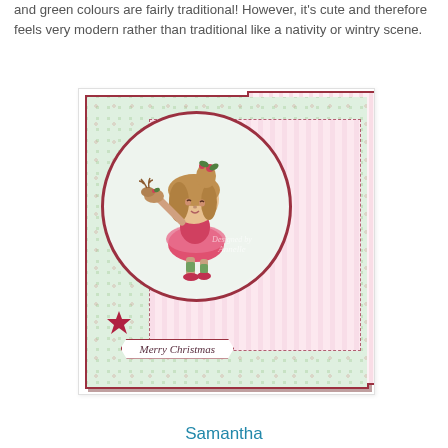and green colours are fairly traditional!  However, it's cute and therefore feels very modern rather than traditional like a nativity or wintry scene.
[Figure (photo): A handmade Christmas card featuring a cute illustrated girl in a pink outfit holding a small reindeer, set in a circular frame on a floral patterned background with a 'Merry Christmas' banner and a red star.]
Samantha